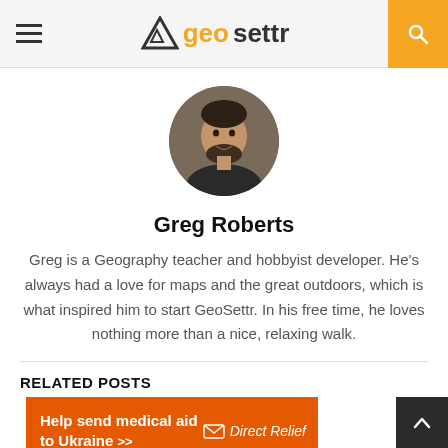geosettr
[Figure (photo): Circular profile photo of Greg Roberts, a man with dark hair and beard, smiling]
Greg Roberts
Greg is a Geography teacher and hobbyist developer. He's always had a love for maps and the great outdoors, which is what inspired him to start GeoSettr. In his free time, he loves nothing more than a nice, relaxing walk.
RELATED POSTS
[Figure (infographic): Orange banner advertisement: 'Help send medical aid to Ukraine >>' with Direct Relief logo on the right]